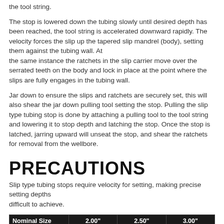the tool string.
The stop is lowered down the tubing slowly until desired depth has been reached, the tool string is accelerated downward rapidly. The velocity forces the slip up the tapered slip mandrel (body), setting them against the tubing wall. At the same instance the ratchets in the slip carrier move over the serrated teeth on the body and lock in place at the point where the slips are fully engages in the tubing wall.
Jar down to ensure the slips and ratchets are securely set, this will also shear the jar down pulling tool setting the stop. Pulling the slip type tubing stop is done by attaching a pulling tool to the tool string and lowering it to stop depth and latching the stop. Once the stop is latched, jarring upward will unseat the stop, and shear the ratchets for removal from the wellbore.
PRECAUTIONS
Slip type tubing stops require velocity for setting, making precise setting depths difficult to achieve.
| Nominal Size | 2.00" | 2.50" | 3.00" |
| --- | --- | --- | --- |
| Assembly Number | 1004AR200A0 | 1004AR250A0 | 1004AR300A0 |